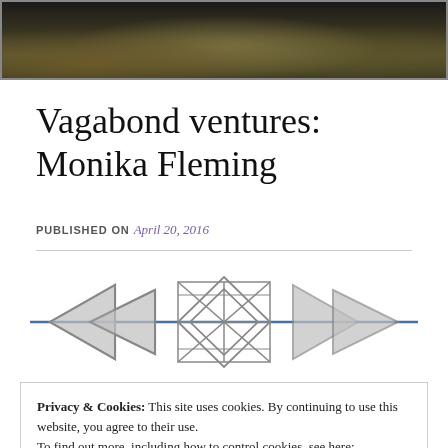[Figure (photo): Top portion of a photo showing mossy rocks in dark tones, cropped at the bottom.]
Vagabond ventures: Monika Fleming
PUBLISHED ON April 20, 2016
[Figure (illustration): Decorative ornament: two double-arrow chevrons pointing left and right connected by a blue horizontal line through a central geometric star/diamond interlaced pattern in grey.]
Privacy & Cookies: This site uses cookies. By continuing to use this website, you agree to their use.
To find out more, including how to control cookies, see here:
Cookie Policy
Close and accept
Washington where only 2,607 people reside in three